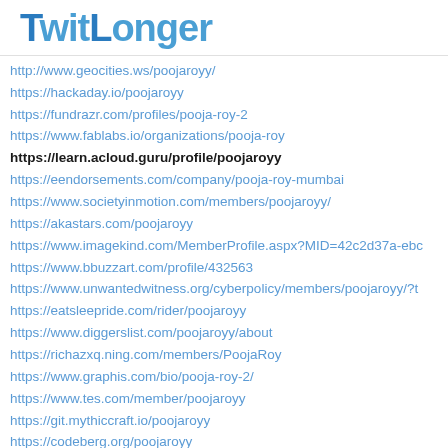TwitLonger
http://www.geocities.ws/poojaroyy/
https://hackaday.io/poojaroyy
https://fundrazr.com/profiles/pooja-roy-2
https://www.fablabs.io/organizations/pooja-roy
https://learn.acloud.guru/profile/poojaroyy
https://eendorsements.com/company/pooja-roy-mumbai
https://www.societyinmotion.com/members/poojaroyy/
https://akastars.com/poojaroyy
https://www.imagekind.com/MemberProfile.aspx?MID=42c2d37a-ebc...
https://www.bbuzzart.com/profile/432563
https://www.unwantedwitness.org/cyberpolicy/members/poojaroyy/?t...
https://eatsleepride.com/rider/poojaroyy
https://www.diggerslist.com/poojaroyy/about
https://richazxq.ning.com/members/PoojaRoy
https://www.graphis.com/bio/pooja-roy-2/
https://www.tes.com/member/poojaroyy
https://git.mythiccraft.io/poojaroyy
https://codeberg.org/poojaroyy
https://gitlab.haskell.org/poojaroyy
https://froont.com/poojaroyy22